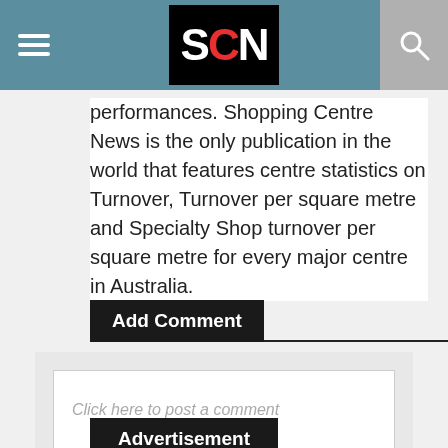SCN
performances. Shopping Centre News is the only publication in the world that features centre statistics on Turnover, Turnover per square metre and Specialty Shop turnover per square metre for every major centre in Australia.
Add Comment
Click here to post a comment
Advertisement